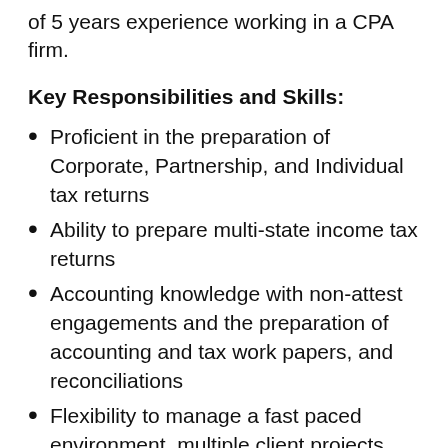of 5 years experience working in a CPA firm.
Key Responsibilities and Skills:
Proficient in the preparation of Corporate, Partnership, and Individual tax returns
Ability to prepare multi-state income tax returns
Accounting knowledge with non-attest engagements and the preparation of accounting and tax work papers, and reconciliations
Flexibility to manage a fast paced environment, multiple client projects, and meet all deliverables and deadlines, especially during busy season